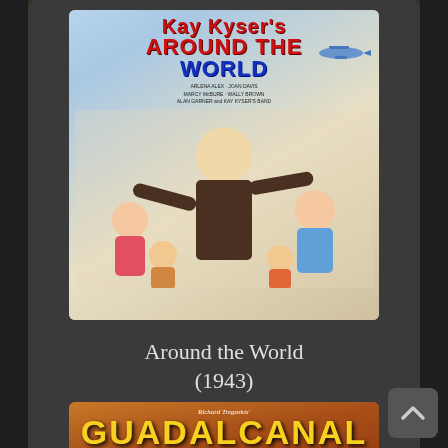[Figure (photo): Movie poster for 'Around the World' (1943) featuring Kay Kyser and cast, with red and blue title text, airplane, and colorful cartoon-style cast illustration]
Around the World (1943)
As Consul
[Figure (photo): Movie poster for 'Guadalcanal Diary' with yellow bold title text on orange-brown background, partially visible at bottom of page]